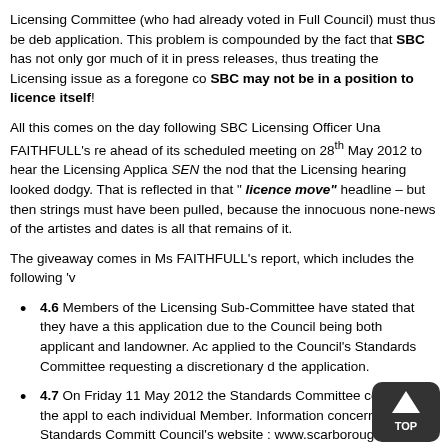Licensing Committee (who had already voted in Full Council) must thus be deb... application. This problem is compounded by the fact that SBC has not only gor... much of it in press releases, thus treating the Licensing issue as a foregone co... SBC may not be in a position to licence itself!
All this comes on the day following SBC Licensing Officer Una FAITHFULL's re... ahead of its scheduled meeting on 28th May 2012 to hear the Licensing Applica... SEN the nod that the Licensing hearing looked dodgy. That is reflected in that '... licence move" headline – but then strings must have been pulled, because the... innocuous none-news of the artistes and dates is all that remains of it.
The giveaway comes in Ms FAITHFULL's report, which includes the following 'v...
4.6 Members of the Licensing Sub-Committee have stated that they have a... this application due to the Council being both applicant and landowner. Ac... applied to the Council's Standards Committee requesting a discretionary d... the application.
4.7 On Friday 11 May 2012 the Standards Committee considered the appl... to each individual Member. Information concerning the Standards Committ... Council's website : www.scarborough.gov.uk
4.8 It should be noted that the dispensation is granted in relation to the... Council being applicant and landowner only. Any other personal/prei...